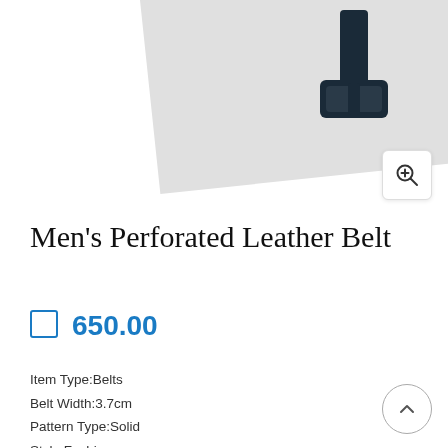[Figure (photo): Product photo of a dark navy/black Men's Perforated Leather Belt on a light gray angled background, with a zoom-in icon button in the top right corner]
Men's Perforated Leather Belt
৳  650.00
Item Type:Belts
Belt Width:3.7cm
Pattern Type:Solid
Style:Fashion
Gender:Men
Belts Material:Leather
Call For order:
01631493054